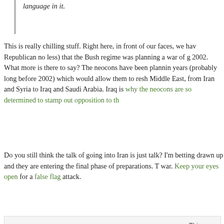language in it.
This is really chilling stuff. Right here, in front of our faces, we have (a Republican no less) that the Bush regime was planning a war of g 2002. What more is there to say? The neocons have been plannin years (probably long before 2002) which would allow them to resh Middle East, from Iran and Syria to Iraq and Saudi Arabia. Iraq is why the neocons are so determined to stamp out opposition to th
Do you still think the talk of going into Iran is just talk? I'm betting drawn up and they are entering the final phase of preparations. T war. Keep your eyes open for a false flag attack.
This pos
Read sc
I can't fucking wait until the world ends: W to die
Filed Under : 9/11, America, CIA, conspiracy, death, elite, evil, false fla fascism, fraud, middle east, neocons, oligarchy, rant, Shadow Governme